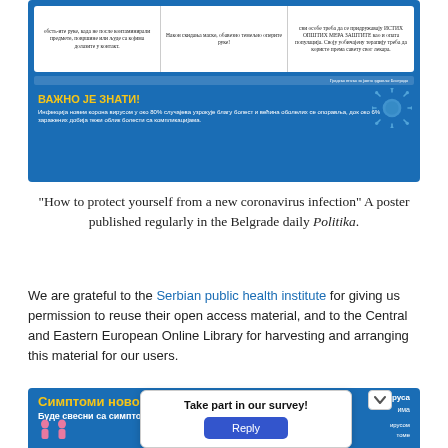[Figure (infographic): Serbian-language health infographic about coronavirus protection, published on blue background. Shows three white text boxes with instructions, a footer strip, 'ВАЖНО ЈЕ ЗНАТИ!' (Important to know) section with yellow bold text, and body text about corona virus statistics. Blue background with virus icons.]
“How to protect yourself from a new coronavirus infection” A poster published regularly in the Belgrade daily Politika.
We are grateful to the Serbian public health institute for giving us permission to reuse their open access material, and to the Central and Eastern European Online Library for harvesting and arranging this material for our users.
[Figure (infographic): Serbian-language infographic about symptoms of new coronavirus (Симптоми новог корона вируса), partially obscured by a survey overlay popup saying 'Take part in our survey!' with a blue Reply button.]